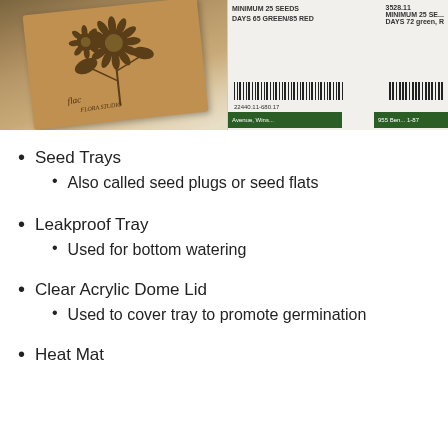[Figure (photo): Photo of seed packets on a wooden surface. A brown kraft paper seed envelope with a floral illustration and handwritten text is in the foreground. White seed packets with barcodes and green label strips are visible in the background.]
Seed Trays
Also called seed plugs or seed flats
Leakproof Tray
Used for bottom watering
Clear Acrylic Dome Lid
Used to cover tray to promote germination
Heat Mat